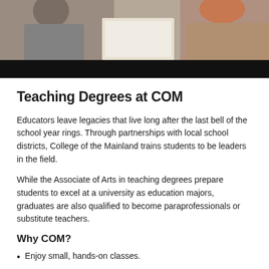[Figure (photo): Two students working at a table, one in a grey hoodie and one with red hair, with papers on the table. Dark/black banner area below photo.]
Teaching Degrees at COM
Educators leave legacies that live long after the last bell of the school year rings. Through partnerships with local school districts, College of the Mainland trains students to be leaders in the field.
While the Associate of Arts in teaching degrees prepare students to excel at a university as education majors, graduates are also qualified to become paraprofessionals or substitute teachers.
Why COM?
Enjoy small, hands-on classes.